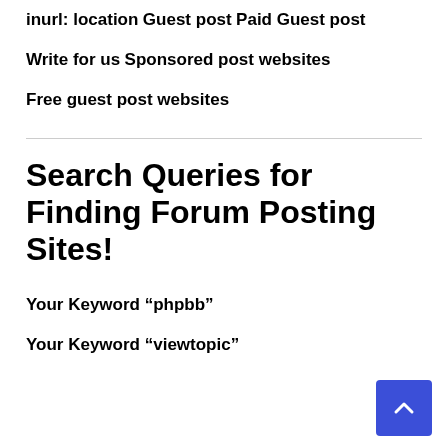inurl: location
Guest post
Paid Guest post
Write for us
Sponsored post websites
Free guest post websites
Search Queries for Finding Forum Posting Sites!
Your Keyword “phpbb”
Your Keyword “viewtopic”